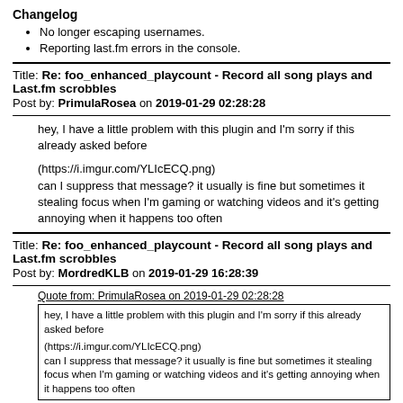Changelog
No longer escaping usernames.
Reporting last.fm errors in the console.
Title: Re: foo_enhanced_playcount - Record all song plays and Last.fm scrobbles
Post by: PrimulaRosea on 2019-01-29 02:28:28
hey, I have a little problem with this plugin and I'm sorry if this already asked before

(https://i.imgur.com/YLIcECQ.png)
can I suppress that message? it usually is fine but sometimes it stealing focus when I'm gaming or watching videos and it's getting annoying when it happens too often
Title: Re: foo_enhanced_playcount - Record all song plays and Last.fm scrobbles
Post by: MordredKLB on 2019-01-29 16:28:39
Quote from: PrimulaRosea on 2019-01-29 02:28:28
hey, I have a little problem with this plugin and I'm sorry if this already asked before

(https://i.imgur.com/YLIcECQ.png)
can I suppress that message? it usually is fine but sometimes it stealing focus when I'm gaming or watching videos and it's getting annoying when it happens too often
Unfortunately no. It's a requirement when using a separate thread to avoid blocking the main foobar UI. Foobar lets you delay it showing up